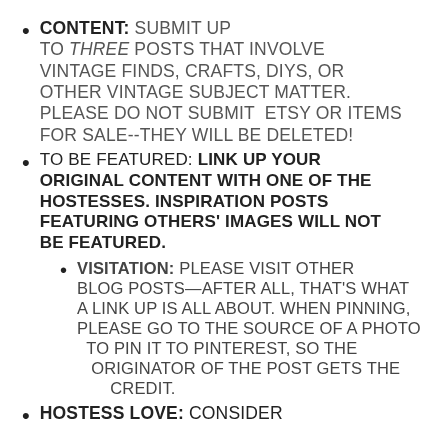CONTENT: SUBMIT UP TO THREE POSTS THAT INVOLVE VINTAGE FINDS, CRAFTS, DIYS, OR OTHER VINTAGE SUBJECT MATTER. PLEASE DO NOT SUBMIT ETSY OR ITEMS FOR SALE--THEY WILL BE DELETED!
TO BE FEATURED: LINK UP YOUR ORIGINAL CONTENT WITH ONE OF THE HOSTESSES. INSPIRATION POSTS FEATURING OTHERS' IMAGES WILL NOT BE FEATURED.
VISITATION: PLEASE VISIT OTHER BLOG POSTS—AFTER ALL, THAT'S WHAT A LINK UP IS ALL ABOUT. WHEN PINNING, PLEASE GO TO THE SOURCE OF A PHOTO TO PIN IT TO PINTEREST, SO THE ORIGINATOR OF THE POST GETS THE CREDIT.
HOSTESS LOVE: CONSIDER